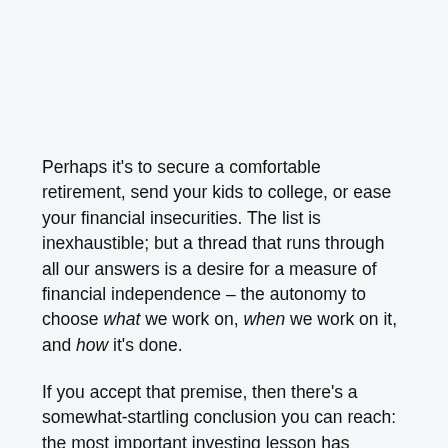Perhaps it's to secure a comfortable retirement, send your kids to college, or ease your financial insecurities. The list is inexhaustible; but a thread that runs through all our answers is a desire for a measure of financial independence – the autonomy to choose what we work on, when we work on it, and how it's done.
If you accept that premise, then there's a somewhat-startling conclusion you can reach: the most important investing lesson has nothing to do with risk, diversification, fees, or finding the next home run stock. It instead all boils down to one simple metric: your savings rate.
While I'll get into the details below, here's the most important investing chart you'll ever see. It plots how many